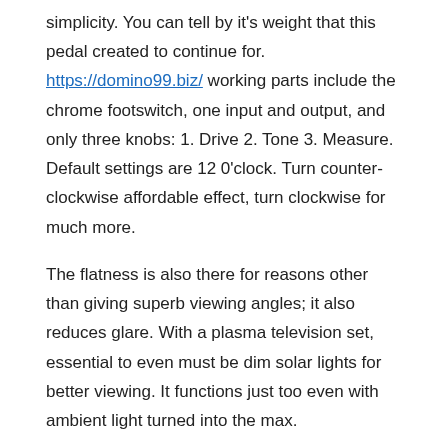simplicity. You can tell by it's weight that this pedal created to continue for. https://domino99.biz/ working parts include the chrome footswitch, one input and output, and only three knobs: 1. Drive 2. Tone 3. Measure. Default settings are 12 0'clock. Turn counter-clockwise affordable effect, turn clockwise for much more.
The flatness is also there for reasons other than giving superb viewing angles; it also reduces glare. With a plasma television set, essential to even must be dim solar lights for better viewing. It functions just too even with ambient light turned into the max.
3) Prime your paint grenade before use. The machines in the factory push the metal balls that stop the paint from coming out deeper than they should continually be. This is a step that the takes avoid the Tippmann Squad Buster from accidentally going off during distribution. Carefully pull these metal stoppers back until these kind of are approximately 1/8 of an inch on the edge from the tubing.